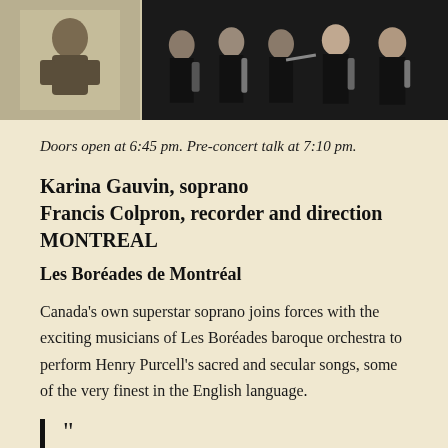[Figure (photo): Two photos side by side: left shows a solo musician portrait (lighter background), right shows a group of baroque musicians in black holding instruments]
Doors open at 6:45 pm. Pre-concert talk at 7:10 pm.
Karina Gauvin, soprano
Francis Colpron, recorder and direction
MONTREAL
Les Boréades de Montréal
Canada's own superstar soprano joins forces with the exciting musicians of Les Boréades baroque orchestra to perform Henry Purcell's sacred and secular songs, some of the very finest in the English language.
“

Gauvin sings with passion, ingratiating charm, sincerity and utter conviction INTERNATIONAL